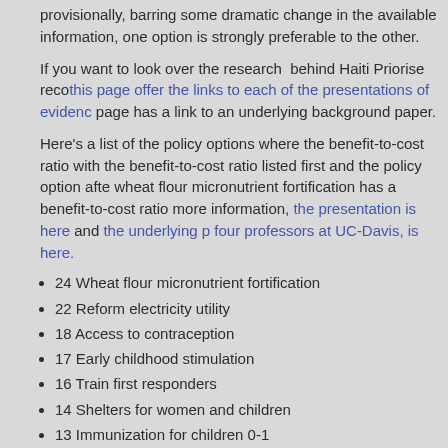provisionally, barring some dramatic change in the available information, one option is strongly preferable to the other.
If you want to look over the research behind Haiti Priorise recommendations, this page offer the links to each of the presentations of evidence, and each page has a link to an underlying background paper.
Here's a list of the policy options where the benefit-to-cost ratio exceeds 10, with the benefit-to-cost ratio listed first and the policy option after. For example, wheat flour micronutrient fortification has a benefit-to-cost ratio of 24. For more information, the presentation is here and the underlying paper, written by four professors at UC-Davis, is here.
24 Wheat flour micronutrient fortification
22 Reform electricity utility
18 Access to contraception
17 Early childhood stimulation
16 Train first responders
14 Shelters for women and children
13 Immunization for children 0-1